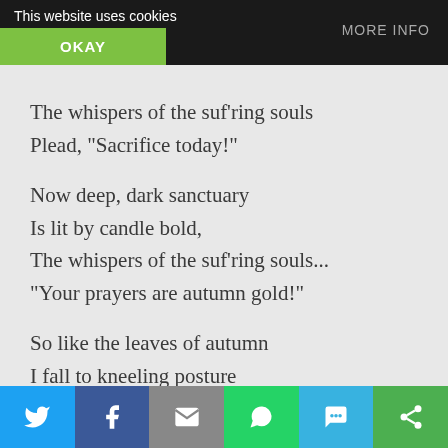This website uses cookies | OKAY | MORE INFO
So 'fore the red-glassed candle,
pray,
The whispers of the suf’ring souls
Plead, “Sacrifice today!”
Now deep, dark sanctuary
Is lit by candle bold,
The whispers of the suf’ring souls...
“Your prayers are autumn gold!”
So like the leaves of autumn
I fall to kneeling posture
The whispers of the suf’ring souls
Beg, “Say a Pater Noster!”
Social share bar: Twitter, Facebook, Email, WhatsApp, SMS, More